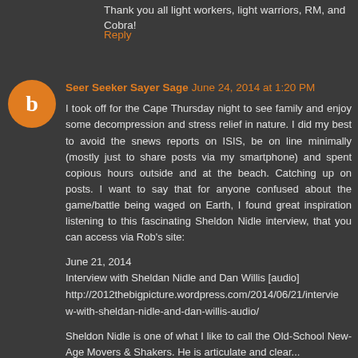Thank you all light workers, light warriors, RM, and Cobra!
Reply
Seer Seeker Sayer Sage June 24, 2014 at 1:20 PM
I took off for the Cape Thursday night to see family and enjoy some decompression and stress relief in nature. I did my best to avoid the snews reports on ISIS, be on line minimally (mostly just to share posts via my smartphone) and spent copious hours outside and at the beach. Catching up on posts. I want to say that for anyone confused about the game/battle being waged on Earth, I found great inspiration listening to this fascinating Sheldon Nidle interview, that you can access via Rob's site:
June 21, 2014
Interview with Sheldan Nidle and Dan Willis [audio]
http://2012thebigpicture.wordpress.com/2014/06/21/interview-with-sheldan-nidle-and-dan-willis-audio/
Sheldon Nidle is one of what I like to call the Old-School New-Age Movers & Shakers. He is articulate and clear...